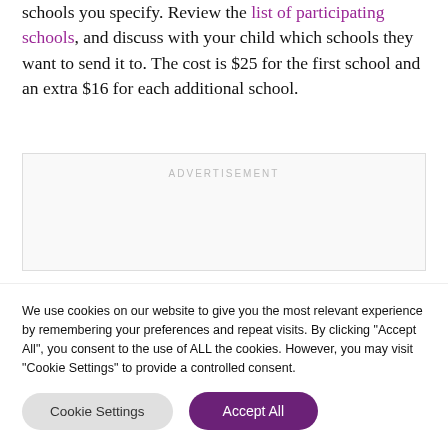schools you specify. Review the list of participating schools, and discuss with your child which schools they want to send it to. The cost is $25 for the first school and an extra $16 for each additional school.
[Figure (other): Advertisement placeholder box with 'ADVERTISEMENT' label in light gray uppercase text]
We use cookies on our website to give you the most relevant experience by remembering your preferences and repeat visits. By clicking "Accept All", you consent to the use of ALL the cookies. However, you may visit "Cookie Settings" to provide a controlled consent.